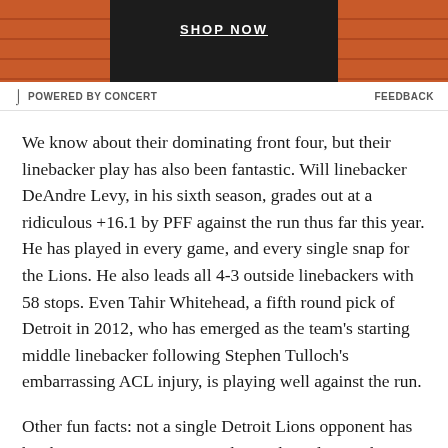[Figure (photo): Advertisement banner with brick wall background and 'SHOP NOW' text]
POWERED BY CONCERT   FEEDBACK
We know about their dominating front four, but their linebacker play has also been fantastic. Will linebacker DeAndre Levy, in his sixth season, grades out at a ridiculous +16.1 by PFF against the run thus far this year. He has played in every game, and every single snap for the Lions. He also leads all 4-3 outside linebackers with 58 stops. Even Tahir Whitehead, a fifth round pick of Detroit in 2012, who has emerged as the team's starting middle linebacker following Stephen Tulloch's embarrassing ACL injury, is playing well against the run.
Other fun facts: not a single Detroit Lions opponent has hit their season average in rushing when playing the